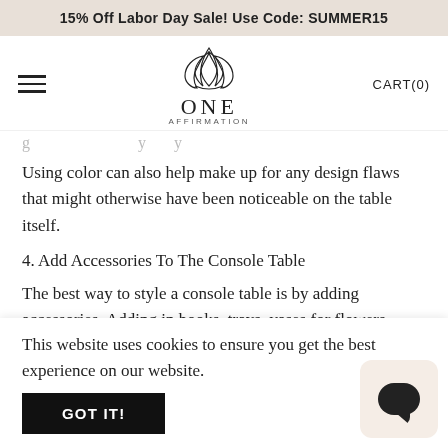15% Off Labor Day Sale! Use Code: SUMMER15
[Figure (logo): One Affirmation logo with lotus flower SVG and text 'ONE AFFIRMATION']
Using color can also help make up for any design flaws that might otherwise have been noticeable on the table itself.
4. Add Accessories To The Console Table
The best way to style a console table is by adding accessories. Adding in books, trays, vases for flowers, photos in frames, or gorgeous table lamps will make your piece of furniture more
This website uses cookies to ensure you get the best experience on our website.